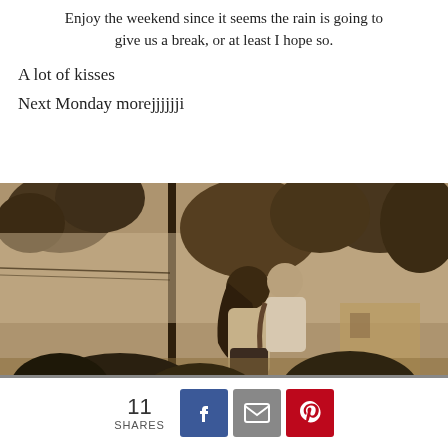Enjoy the weekend since it seems the rain is going to give us a break, or at least I hope so.
A lot of kisses
Next Monday morejjjjjji
[Figure (photo): Sepia-toned outdoor photo of two people embracing, with trees and a building in the background. The image appears to be split into two panels.]
11 SHARES [Facebook] [Email] [Pinterest]